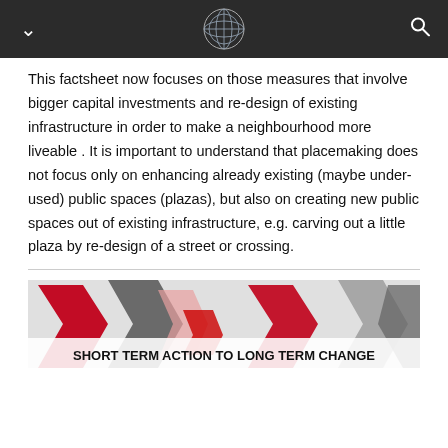This factsheet now focuses on those measures that involve bigger capital investments and re-design of existing infrastructure in order to make a neighbourhood more liveable . It is important to understand that placemaking does not focus only on enhancing already existing (maybe under-used) public spaces (plazas), but also on creating new public spaces out of existing infrastructure, e.g. carving out a little plaza by re-design of a street or crossing.
[Figure (illustration): Abstract illustration with red, dark grey, and light grey star/arrow shapes, overlaid with bold text 'SHORT TERM ACTION TO LONG TERM CHANGE']